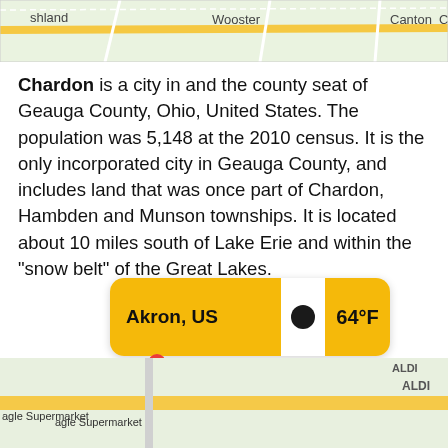[Figure (map): Partial Google Maps view showing Wooster, Canton, and ashland area in Ohio]
Chardon is a city in and the county seat of Geauga County, Ohio, United States. The population was 5,148 at the 2010 census. It is the only incorporated city in Geauga County, and includes land that was once part of Chardon, Hambden and Munson townships. It is located about 10 miles south of Lake Erie and within the “snow belt” of the Great Lakes.
[Figure (screenshot): OpenWeather widget showing Akron, US with a black circle icon and temperature of 64°F on a yellow background]
[Figure (map): Partial Google Maps view showing Chardon Square, ALDI, Eagle Supermarket area]